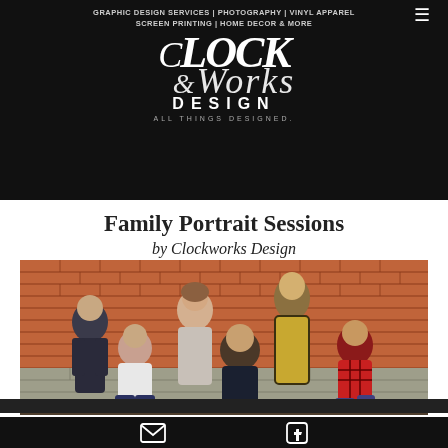GRAPHIC DESIGN SERVICES | PHOTOGRAPHY | VINYL APPAREL SCREEN PRINTING | HOME DECOR & MORE
[Figure (logo): Clockworks Design logo in white on black background with stylized script lettering and tagline 'All Things Designed.']
Family Portrait Sessions by Clockworks Design
[Figure (photo): Family portrait of six people posing in front of a red brick wall. Group includes adults and young people wearing casual flannel and plaid shirts.]
Email icon and Facebook icon